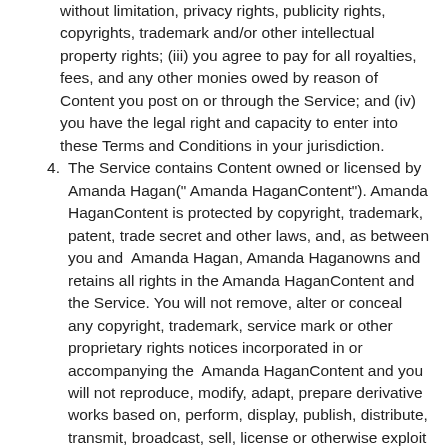without limitation, privacy rights, publicity rights, copyrights, trademark and/or other intellectual property rights; (iii) you agree to pay for all royalties, fees, and any other monies owed by reason of Content you post on or through the Service; and (iv) you have the legal right and capacity to enter into these Terms and Conditions in your jurisdiction.
4. The Service contains Content owned or licensed by Amanda Hagan(“ Amanda HaganContent”). Amanda HaganContent is protected by copyright, trademark, patent, trade secret and other laws, and, as between you and Amanda Hagan, Amanda Haganowns and retains all rights in the Amanda HaganContent and the Service. You will not remove, alter or conceal any copyright, trademark, service mark or other proprietary rights notices incorporated in or accompanying the Amanda HaganContent and you will not reproduce, modify, adapt, prepare derivative works based on, perform, display, publish, distribute, transmit, broadcast, sell, license or otherwise exploit the Amanda HaganContent